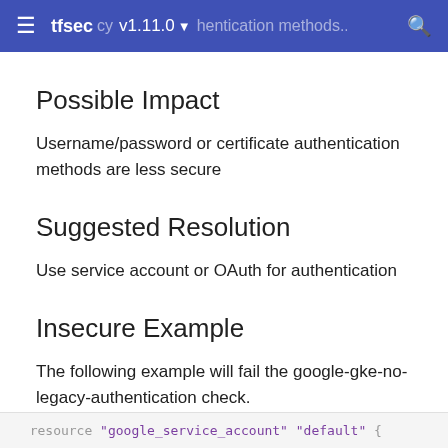≡  tfsec  cy  v1.11.0 ▼  hentication methods...  🔍
Possible Impact
Username/password or certificate authentication methods are less secure
Suggested Resolution
Use service account or OAuth for authentication
Insecure Example
The following example will fail the google-gke-no-legacy-authentication check.
resource "google_service_account" "default" {